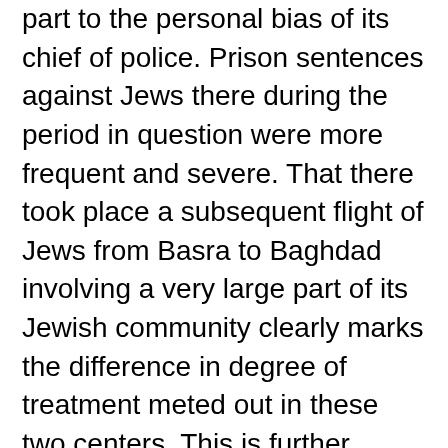part to the personal bias of its chief of police. Prison sentences against Jews there during the period in question were more frequent and severe. That there took place a subsequent flight of Jews from Basra to Baghdad involving a very large part of its Jewish community clearly marks the difference in degree of treatment meted out in these two centers, This is further borne out by the fact that the brother and partner of Ades who lives in Baghdad was simply put under surveillance. Otherwise, he was not molested nor was his property touched.

Ades was charged with complicity with the